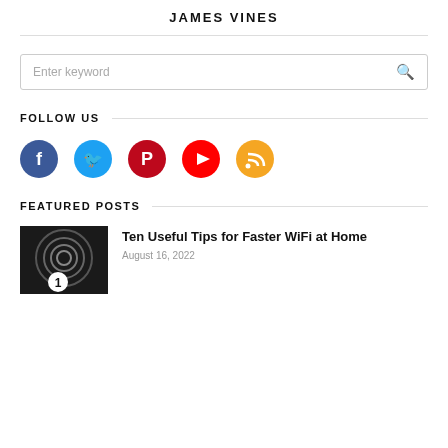JAMES VINES
[Figure (other): Search input box with placeholder 'Enter keyword' and search icon]
FOLLOW US
[Figure (infographic): Row of five social media icons: Facebook (dark blue), Twitter (sky blue), Pinterest (dark red), YouTube (red), RSS (orange/yellow)]
FEATURED POSTS
[Figure (photo): Thumbnail image with dark circular vortex/lock and number 1 badge]
Ten Useful Tips for Faster WiFi at Home
August 16, 2022